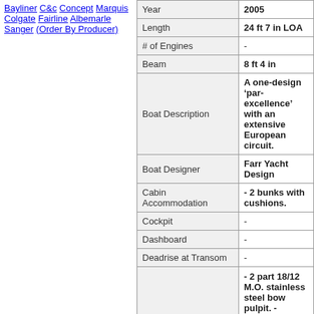Bayliner
C&c
Concept
Marquis
Colgate
Fairline
Albemarle
Sanger
(Order By Producer)
| Field | Value |
| --- | --- |
| Year | 2005 |
| Length | 24 ft 7 in LOA |
| # of Engines | - |
| Beam | 8 ft 4 in |
| Boat Description | A one-design 'par-excellence' with an extensive European circuit. |
| Boat Designer | Farr Yacht Design |
| Cabin Accommodation | - 2 bunks with cushions. |
| Cockpit | - |
| Dashboard | - |
| Deadrise at Transom | - |
|  | - 2 part 18/12 M.O. stainless steel bow pulpit. - Stainless steel single lifelines with 4 |